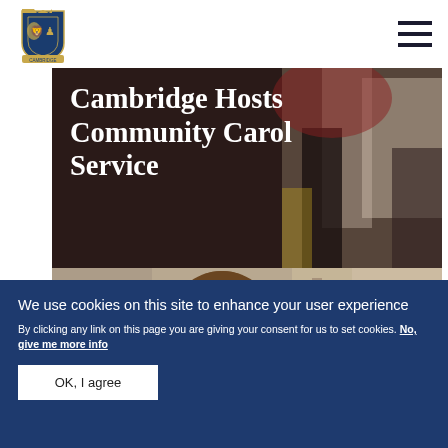[Figure (logo): Cambridge city council royal coat of arms logo, blue and gold crest]
[Figure (photo): Hamburger/menu icon — three horizontal dark lines]
Cambridge Hosts Community Carol Service
[Figure (photo): Dark photo showing choir or people at a carol service event]
[Figure (photo): Photo of a person with brown/blonde hair, head down, at what appears to be a craft or reading activity]
We use cookies on this site to enhance your user experience
By clicking any link on this page you are giving your consent for us to set cookies. No, give me more info
OK, I agree